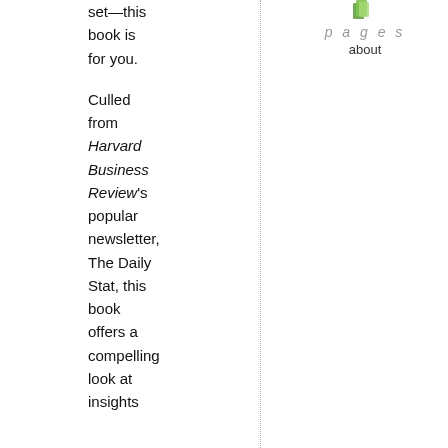set—this book is for you. Culled from Harvard Business Review's popular newsletter, The Daily Stat, this book offers a compelling look at insights
[Figure (logo): Small green leaf/pages icon above the italic word 'pages' and the word 'about']